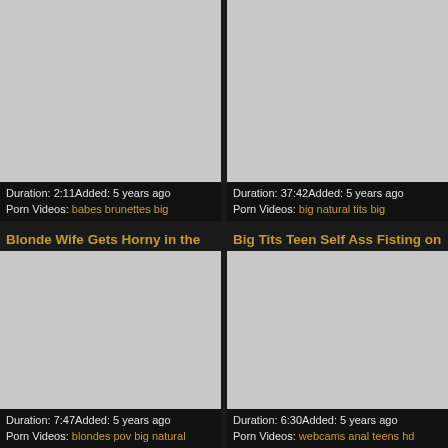[Figure (screenshot): Video thumbnail placeholder (gray rectangle) for first video]
Duration: 2:11Added: 5 years ago
Porn Videos: babes brunettes big
Blonde Wife Gets Horny in the
[Figure (screenshot): Video thumbnail placeholder (gray rectangle) for second video]
Duration: 37:42Added: 5 years ago
Porn Videos: big natural tits big
Big Tits Teen Self Ass Fisting on
[Figure (screenshot): Video thumbnail placeholder (gray rectangle) for third video]
Duration: 7:47Added: 5 years ago
Porn Videos: blondes pov big natural
[Figure (screenshot): Video thumbnail placeholder (gray rectangle) for fourth video]
Duration: 6:30Added: 5 years ago
Porn Videos: webcams anal teens hd